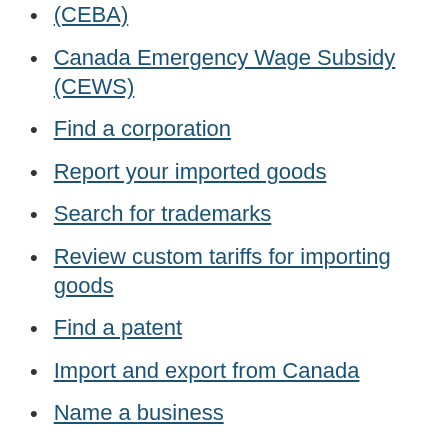(CEBA)
Canada Emergency Wage Subsidy (CEWS)
Find a corporation
Report your imported goods
Search for trademarks
Review custom tariffs for importing goods
Find a patent
Import and export from Canada
Name a business